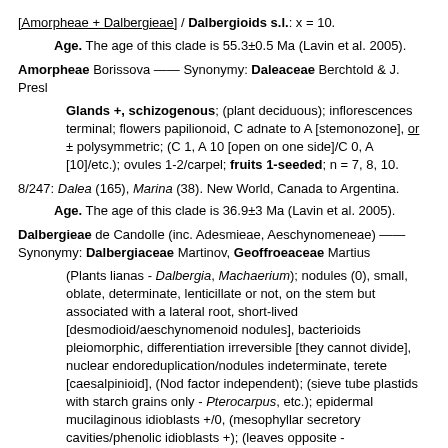[Amorpheae + Dalbergieae] / Dalbergioids s.l.: x = 10.
Age. The age of this clade is 55.3±0.5 Ma (Lavin et al. 2005).
Amorpheae Borissova —— Synonymy: Daleaceae Berchtold & J. Presl
Glands +, schizogenous; (plant deciduous); inflorescences terminal; flowers papilionoid, C adnate to A [stemonozone], or ± polysymmetric; (C 1, A 10 [open on one side]/C 0, A [10]/etc.); ovules 1-2/carpel; fruits 1-seeded; n = 7, 8, 10.
8/247: Dalea (165), Marina (38). New World, Canada to Argentina.
Age. The age of this clade is 36.9±3 Ma (Lavin et al. 2005).
Dalbergieae de Candolle (inc. Adesmieae, Aeschynomeneae) —— Synonymy: Dalbergiaceae Martinov, Geoffroeaceae Martius
(Plants lianas - Dalbergia, Machaerium); nodules (0), small, oblate, determinate, lenticillate or not, on the stem but associated with a lateral root, short-lived [desmodioid/aeschynomenoid nodules], bacterioids pleiomorphic, differentiation irreversible [they cannot divide], nuclear endoreduplication/nodules indeterminate, terete [caesalpinioid], (Nod factor independent); (sieve tube plastids with starch grains only - Pterocarpus, etc.); epidermal mucilaginous idioblasts +/0, (mesophyllar secretory cavities/phenolic idioblasts +); (leaves opposite - Platymiscium), (leaflets fold forwards at night); flowers (polysymmetric); A free/connate half way, mono-/pseudomono-/dia-/tetradelphous [4 + 1 + 4 + 1], (colleters +); hypanthium ± 0/long, nectary on top/stipe of G adnate to hypanthium,